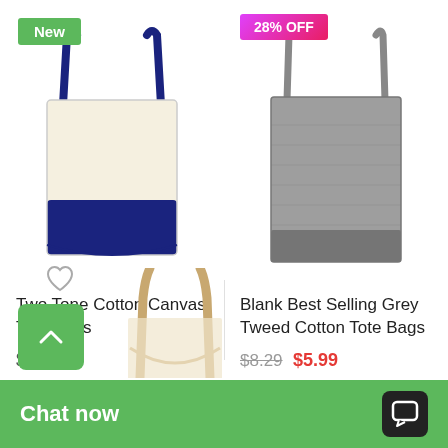[Figure (photo): Two Tone Cotton Canvas Tote Bag with navy blue handles and base, cream/natural body, shown with New badge]
Two Tone Cotton Canvas Tote Bags
$5.69
[Figure (photo): Blank Best Selling Grey Tweed Cotton Tote Bag shown with 28% OFF badge]
Blank Best Selling Grey Tweed Cotton Tote Bags
$8.29  $5.99
[Figure (photo): Partial view of another tote bag at bottom left]
Chat now